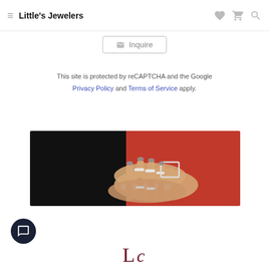Little's Jewelers
✉ Inquire
This site is protected by reCAPTCHA and the Google Privacy Policy and Terms of Service apply.
[Figure (photo): Close-up photo of a woman's hands wearing silver rings and bracelets, dressed in a red outfit against a dark background.]
[Figure (logo): Little's Jewelers logo with large stylized italic letters 'L' and 'c' in dark red/maroon color.]